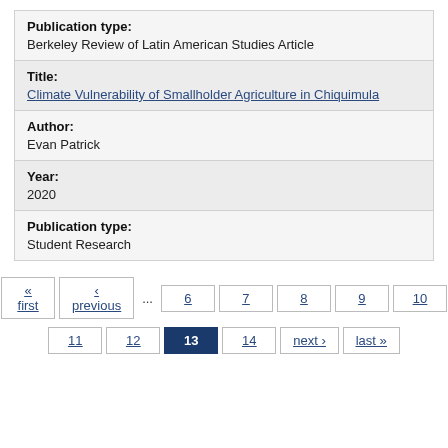Publication type:
Berkeley Review of Latin American Studies Article
Title:
Climate Vulnerability of Smallholder Agriculture in Chiquimula
Author:
Evan Patrick
Year:
2020
Publication type:
Student Research
« first
‹ previous
6
7
8
9
10
11
12
13
14
next ›
last »